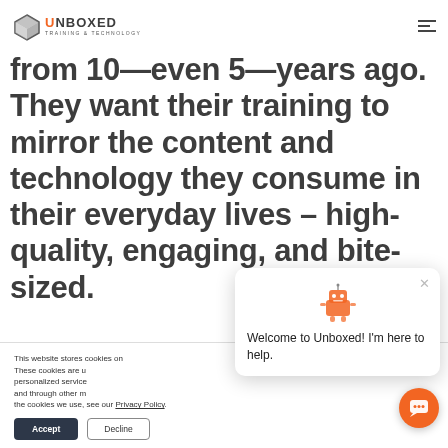Unboxed Training & Technology
from 10—even 5—years ago. They want their training to mirror the content and technology they consume in their everyday lives – high-quality, engaging, and bite-sized.
This website stores cookies on your computer. These cookies are used to collect information about how you interact with our website and allow us to remember you. We use this information in order to improve and customize your browsing experience and for analytics and metrics about our visitors both on this website and through other media. To find out more about the cookies we use, see our Privacy Policy.
Welcome to Unboxed! I'm here to help.